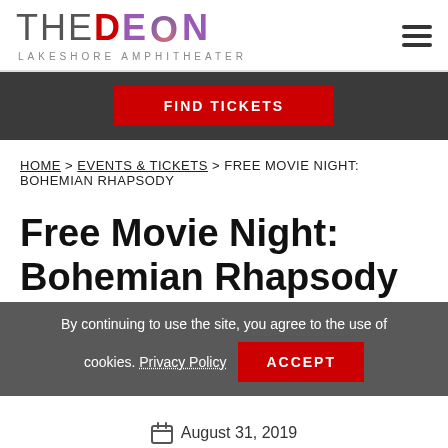[Figure (logo): The Devon Lakeshore Amphitheater logo with stylized text and gradient circle in the letter O]
FIND TICKETS
HOME > EVENTS & TICKETS > FREE MOVIE NIGHT: BOHEMIAN RHAPSODY
Free Movie Night: Bohemian Rhapsody
By continuing to use the site, you agree to the use of cookies. Privacy Policy
August 31, 2019